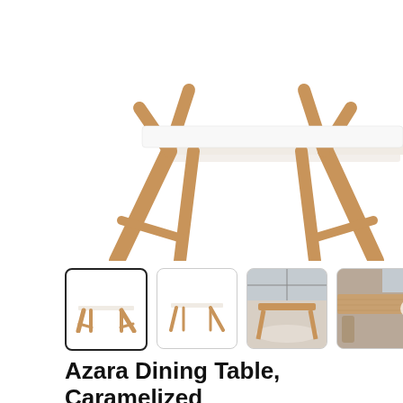[Figure (photo): Main product image showing the top portion of the Azara Dining Table in caramelized finish, with wooden Y-shaped legs visible and a white tabletop, photographed from slightly above against a white background.]
[Figure (photo): Four thumbnail images of the Azara Dining Table: 1) side view on white background (selected), 2) front view on white background, 3) lifestyle shot in a room with rug, 4) close-up lifestyle shot showing table surface and chairs.]
Azara Dining Table, Caramelized